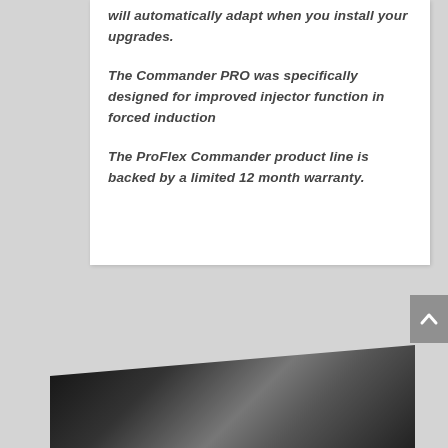will automatically adapt when you install your upgrades.
The Commander PRO was specifically designed for improved injector function in forced induction
The ProFlex Commander product line is backed by a limited 12 month warranty.
[Figure (photo): Dark angled graphic/photo area at the bottom of the page, showing a dark product or background image with diagonal composition in black and dark gray tones.]